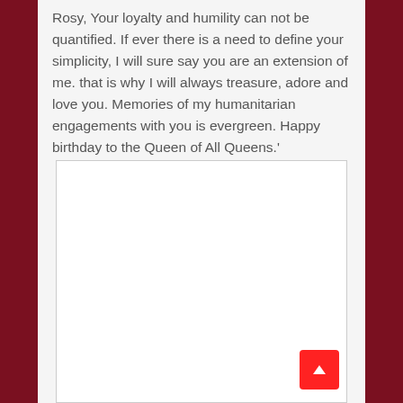Rosy, Your loyalty and humility can not be quantified. If ever there is a need to define your simplicity, I will sure say you are an extension of me. that is why I will always treasure, adore and love you. Memories of my humanitarian engagements with you is evergreen. Happy birthday to the Queen of All Queens.'
[Figure (other): Empty white comment/text input box with a grey border]